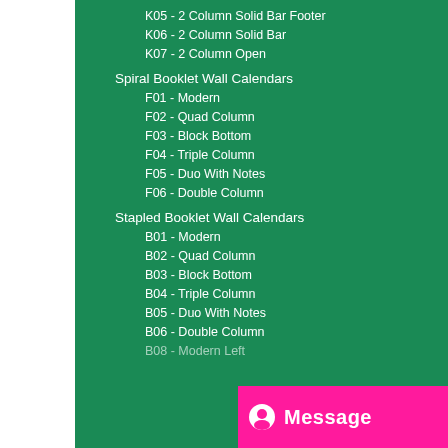K05 - 2 Column Solid Bar Footer
K06 - 2 Column Solid Bar
K07 - 2 Column Open
Spiral Booklet Wall Calendars
F01 - Modern
F02 - Quad Column
F03 - Block Bottom
F04 - Triple Column
F05 - Duo With Notes
F06 - Double Column
Stapled Booklet Wall Calendars
B01 - Modern
B02 - Quad Column
B03 - Block Bottom
B04 - Triple Column
B05 - Duo With Notes
B06 - Double Column
B08 - Modern Left